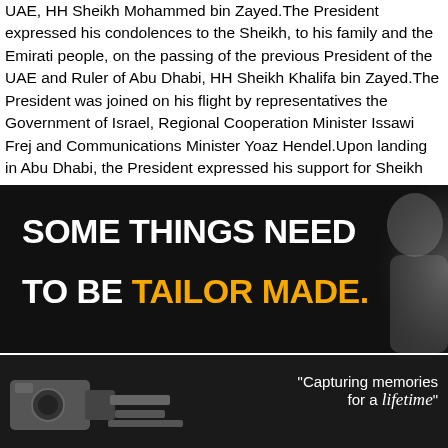UAE, HH Sheikh Mohammed bin Zayed.The President expressed his condolences to the Sheikh, to his family and the Emirati people, on the passing of the previous President of the UAE and Ruler of Abu Dhabi, HH Sheikh Khalifa bin Zayed.The President was joined on his flight by representatives the Government of Israel, Regional Cooperation Minister Issawi Frej and Communications Minister Yoaz Hendel.Upon landing in Abu Dhabi, the President expressed his support for Sheikh Mohammed bin Zayed and the ...
Read More
[Figure (illustration): Dark advertisement banner with bold white and yellow text reading 'SOME THINGS NEED TO BE TAILOR MADE.' with a silhouette of a person on the right side.]
[Figure (illustration): Dark advertisement banner showing camera equipment on the left and the text 'Capturing memories for a lifetime' in italic on the right, both in white text on dark background.]